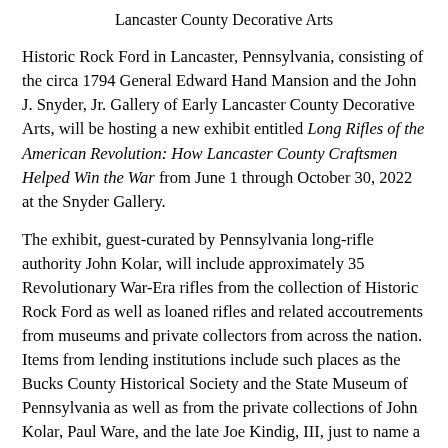Lancaster County Decorative Arts
Historic Rock Ford in Lancaster, Pennsylvania, consisting of the circa 1794 General Edward Hand Mansion and the John J. Snyder, Jr. Gallery of Early Lancaster County Decorative Arts, will be hosting a new exhibit entitled Long Rifles of the American Revolution: How Lancaster County Craftsmen Helped Win the War from June 1 through October 30, 2022 at the Snyder Gallery.
The exhibit, guest-curated by Pennsylvania long-rifle authority John Kolar, will include approximately 35 Revolutionary War-Era rifles from the collection of Historic Rock Ford as well as loaned rifles and related accoutrements from museums and private collectors from across the nation. Items from lending institutions include such places as the Bucks County Historical Society and the State Museum of Pennsylvania as well as from the private collections of John Kolar, Paul Ware, and the late Joe Kindig, III, just to name a few. Of significant consideration will be two loans from the National Museum of the United States Army: The Thomas Tileston 1773 rifle as well as the 1776 seal of the 1st Continental Regiment, of which Edward Hand was its first commander and also commissioned the fabrication of a regimental musket, which was unique in its era, and Edward Hand's...